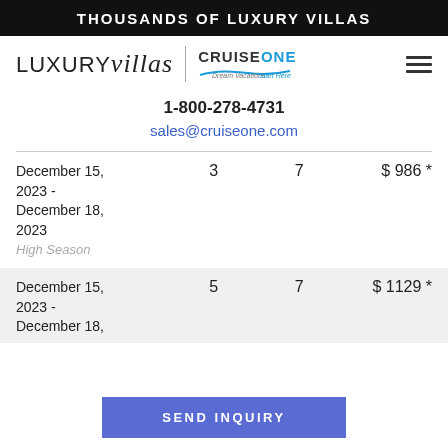THOUSANDS OF LUXURY VILLAS
[Figure (logo): Luxury Villas logo with script text, vertical divider, and CruiseOne Dream Vacations logo with wave graphic]
1-800-278-4731
sales@cruiseone.com
| Date | Guests | Nights | Price |
| --- | --- | --- | --- |
| December 15, 2023 - December 18, 2023 High Season | 3 | 7 | $ 986 * |
| December 15, 2023 - December 18, | 5 | 7 | $ 1129 * |
SEND INQUIRY